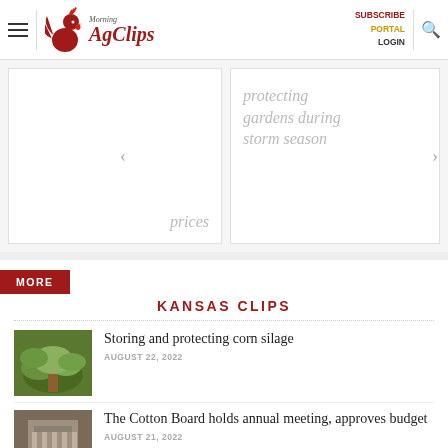Morning AgClips | SUBSCRIBE PORTAL LOGIN
[Figure (screenshot): Carousel with two article preview cards. Left card shows italic gray text 'prices'. Right card shows italic gray text 'protecting gardens during storm season'. Left and right navigation arrows visible.]
MORE
KANSAS CLIPS
Storing and protecting corn silage
AUGUST 22, 2022
The Cotton Board holds annual meeting, approves budget
AUGUST 21, 2022